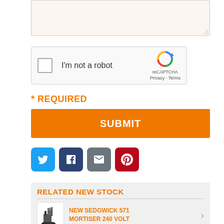[Figure (screenshot): Textarea input field with light peach/orange background]
[Figure (screenshot): reCAPTCHA widget with checkbox labeled 'I'm not a robot' and reCAPTCHA logo with Privacy and Terms links]
* REQUIRED
[Figure (screenshot): Orange submit button with white text 'SUBMIT']
[Figure (screenshot): Social sharing icons: Twitter (blue), Facebook (dark blue), Email (gray), Pinterest (red)]
RELATED NEW STOCK
[Figure (photo): Image of Sedgwick 571 Mortiser machine]
NEW SEDGWICK 571 MORTISER 240 VOLT